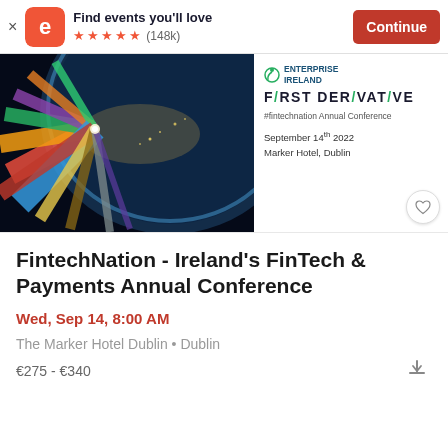[Figure (screenshot): Eventbrite app banner with logo, 'Find events you'll love', 5 star rating (148k), and Continue button]
[Figure (photo): Event banner image showing a globe from space with colorful data visualization lines radiating from Europe/Asia region, with Enterprise Ireland and First Derivative logos on the right side]
FintechNation - Ireland's FinTech & Payments Annual Conference
Wed, Sep 14, 8:00 AM
The Marker Hotel Dublin • Dublin
€275 - €340